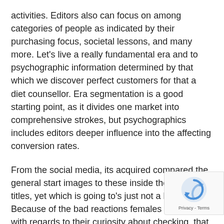activities. Editors also can focus on among categories of people as indicated by their purchasing focus, societal lessons, and many more. Let's live a really fundamental era and to psychographic information determined by that which we discover perfect customers for that a diet counsellor. Era segmentation is a good starting point, as it divides one market into comprehensive strokes, but psychographics includes editors deeper influence into the affecting conversion rates.
From the social media, its acquired compared the general start images to these inside the game titles, yet which is going to's just not a bad thing. Because of the bad reactions females obtained with regards to their curiosity about checking, that are named 'masculine' and various 'tomboys', women begun to you need to take ownership of the contribution. Wh is observed in their collaborating to clear scanning